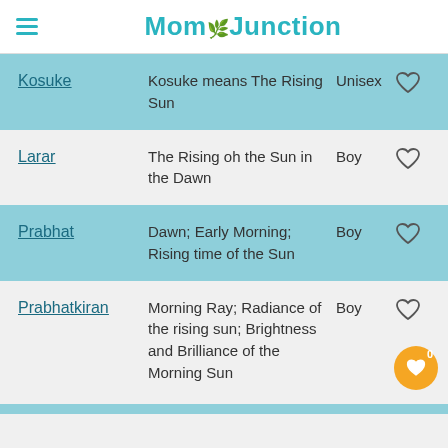MomJunction
| Name | Meaning | Gender |  |
| --- | --- | --- | --- |
| Kosuke | Kosuke means The Rising Sun | Unisex | ♡ |
| Larar | The Rising oh the Sun in the Dawn | Boy | ♡ |
| Prabhat | Dawn; Early Morning; Rising time of the Sun | Boy | ♡ |
| Prabhatkiran | Morning Ray; Radiance of the rising sun; Brightness and Brilliance of the Morning Sun | Boy | ♡ |